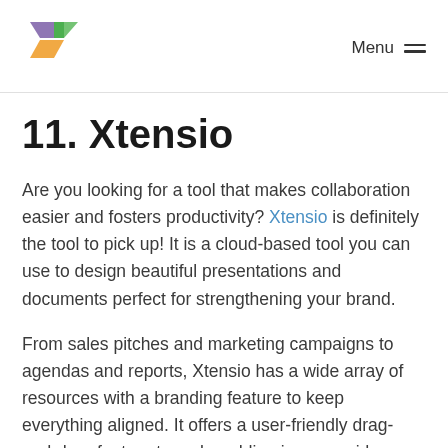[Figure (logo): Xtensio logo: colorful arrow/chevron shapes in green, purple, and orange]
Menu ≡
11. Xtensio
Are you looking for a tool that makes collaboration easier and fosters productivity? Xtensio is definitely the tool to pick up! It is a cloud-based tool you can use to design beautiful presentations and documents perfect for strengthening your brand.
From sales pitches and marketing campaigns to agendas and reports, Xtensio has a wide array of resources with a branding feature to keep everything aligned. It offers a user-friendly drag-and-drop feature to make adding images, videos, and other interactive details to the documents.